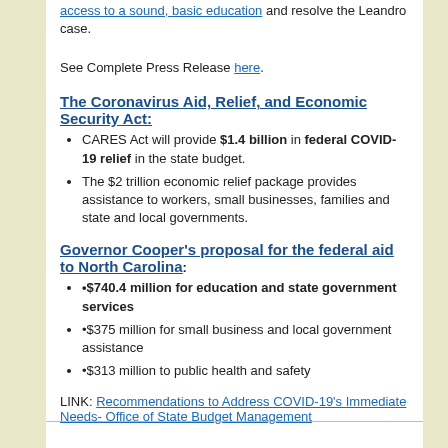access to a sound, basic education and resolve the Leandro case.
See Complete Press Release here.
The Coronavirus Aid, Relief, and Economic Security Act:
CARES Act will provide $1.4 billion in federal COVID-19 relief in the state budget.
The $2 trillion economic relief package provides assistance to workers, small businesses, families and state and local governments.
Governor Cooper's proposal for the federal aid to North Carolina:
•$740.4 million for education and state government services
•$375 million for small business and local government assistance
•$313 million to public health and safety
LINK: Recommendations to Address COVID-19's Immediate Needs- Office of State Budget Management